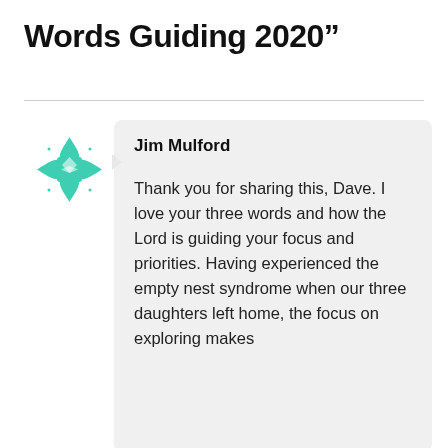Words Guiding 2020”
[Figure (logo): Teal decorative flower/geometric logo icon]
Jim Mulford
Thank you for sharing this, Dave. I love your three words and how the Lord is guiding your focus and priorities. Having experienced the empty nest syndrome when our three daughters left home, the focus on exploring makes